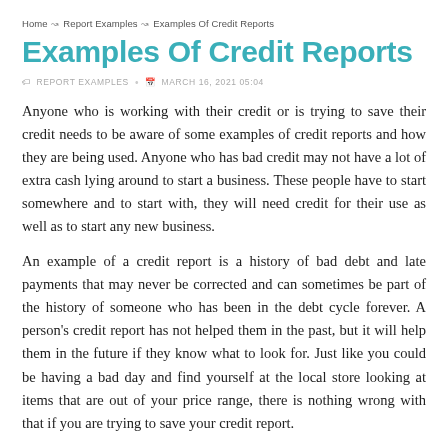Home → Report Examples → Examples Of Credit Reports
Examples Of Credit Reports
REPORT EXAMPLES  •  MARCH 16, 2021 05:04
Anyone who is working with their credit or is trying to save their credit needs to be aware of some examples of credit reports and how they are being used. Anyone who has bad credit may not have a lot of extra cash lying around to start a business. These people have to start somewhere and to start with, they will need credit for their use as well as to start any new business.
An example of a credit report is a history of bad debt and late payments that may never be corrected and can sometimes be part of the history of someone who has been in the debt cycle forever. A person's credit report has not helped them in the past, but it will help them in the future if they know what to look for. Just like you could be having a bad day and find yourself at the local store looking at items that are out of your price range, there is nothing wrong with that if you are trying to save your credit report.